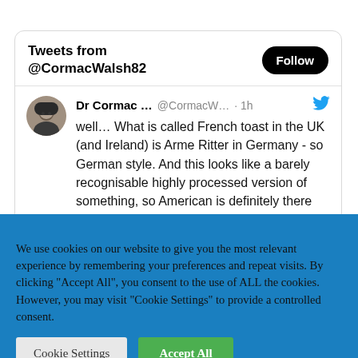FOLLOW ME ON TWITTER
[Figure (screenshot): Twitter widget showing tweets from @CormacWalsh82 with a Follow button and a tweet by Dr Cormac ... (@CormacW...) posted 1h ago about French toast/Arme Ritter]
We use cookies on our website to give you the most relevant experience by remembering your preferences and repeat visits. By clicking "Accept All", you consent to the use of ALL the cookies. However, you may visit "Cookie Settings" to provide a controlled consent.
Cookie Settings   Accept All